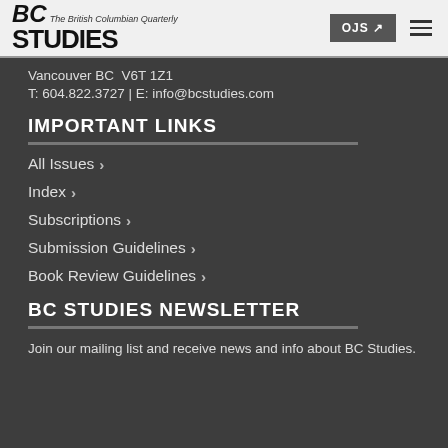BC STUDIES — The British Columbian Quarterly | OJS ↗ [menu]
Vancouver BC  V6T 1Z1
T: 604.822.3727 | E: info@bcstudies.com
IMPORTANT LINKS
All Issues
Index
Subscriptions
Submission Guidelines
Book Review Guidelines
BC STUDIES NEWSLETTER
Join our mailing list and receive news and info about BC Studies.